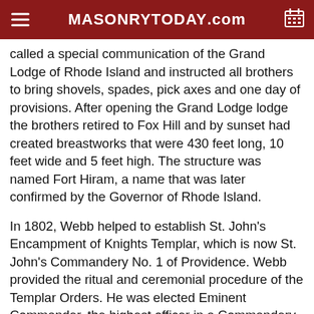MASONRYTODAY.com
called a special communication of the Grand Lodge of Rhode Island and instructed all brothers to bring shovels, spades, pick axes and one day of provisions. After opening the Grand Lodge lodge the brothers retired to Fox Hill and by sunset had created breastworks that were 430 feet long, 10 feet wide and 5 feet high. The structure was named Fort Hiram, a name that was later confirmed by the Governor of Rhode Island.
In 1802, Webb helped to establish St. John's Encampment of Knights Templar, which is now St. John's Commandery No. 1 of Providence. Webb provided the ritual and ceremonial procedure of the Templar Orders. He was elected Eminent Commander, the highest officer in a Commandery of Knights Templar, after the formation of the Commandery and was re-elected every year until 1814 when he declined the position. In 1805, he with others formed what is now the Grand Commandery of Massachusetts and Rhode Island. He presided there until 1817.